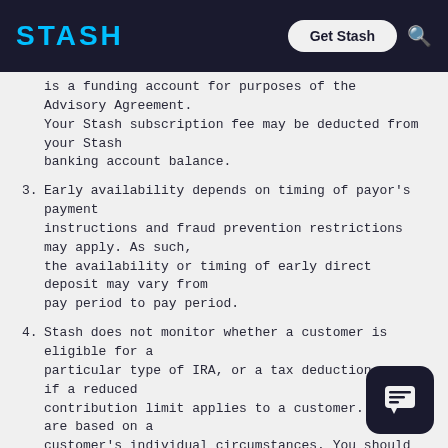STASH | Get Stash
is a funding account for purposes of the Advisory Agreement. Your Stash subscription fee may be deducted from your Stash banking account balance.
3. Early availability depends on timing of payor's payment instructions and fraud prevention restrictions may apply. As such, the availability or timing of early direct deposit may vary from pay period to pay period.
4. Stash does not monitor whether a customer is eligible for a particular type of IRA, or a tax deduction, or if a reduced contribution limit applies to a customer. These are based on a customer's individual circumstances. You should consult with a tax advisor.
5. “Kids Portfolio” is a custodial UGMA / UTMA account. Money in a custodial account is the property of the minor. This type of account is a Non-Discretionary Managed account.
6. Availability of instant money transfers may be subject to